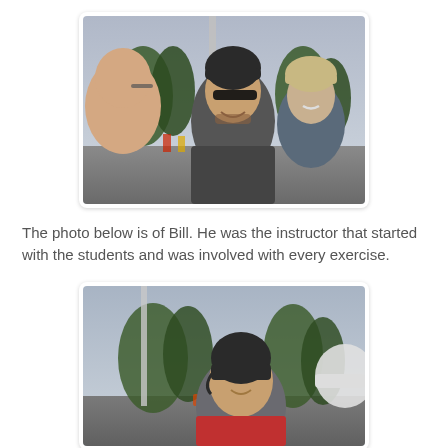[Figure (photo): Outdoor photo of three people standing near a light pole in a parking lot. The central person wears a dark knit beanie and sunglasses and is smiling. To the left is a partial profile of another person with glasses. To the right is an older person wearing a tan/beige hat.]
The photo below is of Bill. He was the instructor that started with the students and was involved with every exercise.
[Figure (photo): Outdoor photo of a person wearing a motorcycle helmet, smiling, with trees and a parking area visible in the background. Another helmeted person is partially visible on the right.]